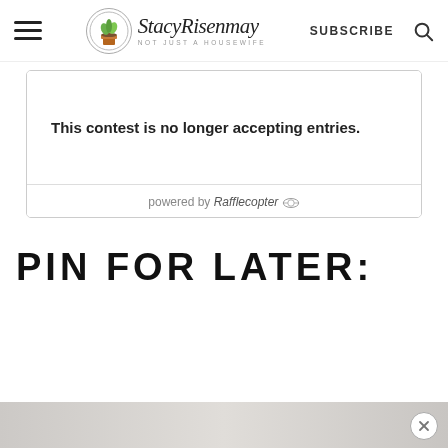StacyRisenmay - Not Just a Housewife | SUBSCRIBE | Search
[Figure (screenshot): Rafflecopter contest widget showing 'This contest is no longer accepting entries.' with 'powered by Rafflecopter' footer]
This contest is no longer accepting entries.
powered by Rafflecopter
PIN FOR LATER:
[Figure (photo): Partial bottom image strip visible at bottom of page with close (X) button]